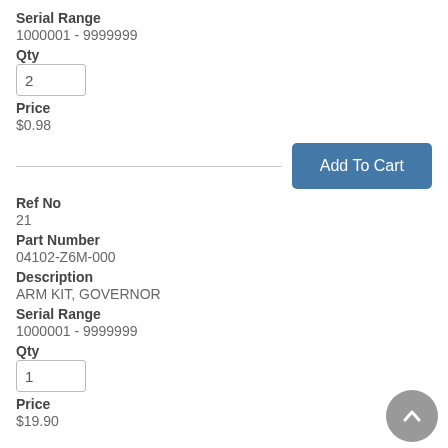Serial Range
1000001 - 9999999
Qty
2
Price
$0.98
Add To Cart
Ref No
21
Part Number
04102-Z6M-000
Description
ARM KIT, GOVERNOR
Serial Range
1000001 - 9999999
Qty
1
Price
$19.90